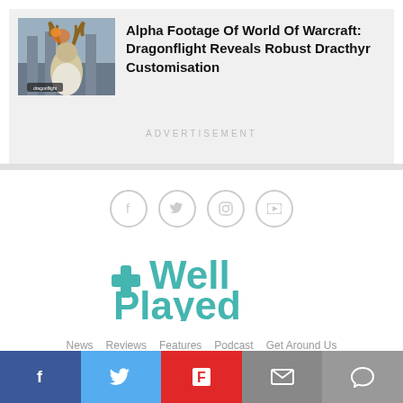[Figure (photo): Thumbnail image of World of Warcraft Dragonflight Dracthyr character in a fantasy setting]
Alpha Footage Of World Of Warcraft: Dragonflight Reveals Robust Dracthyr Customisation
ADVERTISEMENT
[Figure (logo): WellPlayed logo with teal gamepad cross icon and text Well Played]
News  Reviews  Features  Podcast  Get Around Us
Copyright © 2022